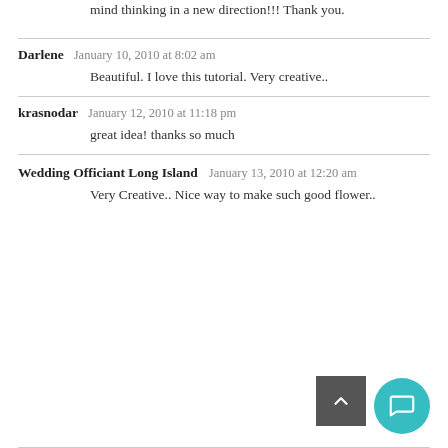mind thinking in a new direction!!! Thank you.
Darlene   January 10, 2010 at 8:02 am
Beautiful. I love this tutorial. Very creative..
krasnodar   January 12, 2010 at 11:18 pm
great idea! thanks so much
Wedding Officiant Long Island   January 13, 2010 at 12:20 am
Very Creative.. Nice way to make such good flower..